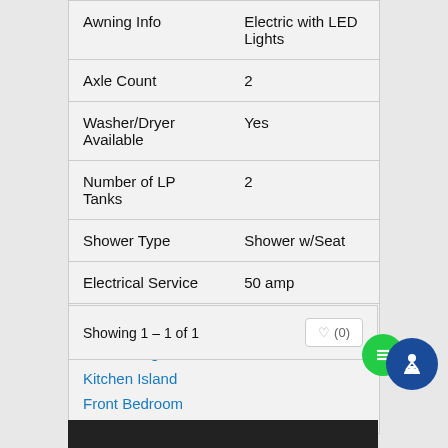| Feature | Value |
| --- | --- |
| Awning Info | Electric with LED Lights |
| Axle Count | 2 |
| Washer/Dryer Available | Yes |
| Number of LP Tanks | 2 |
| Shower Type | Shower w/Seat |
| Electrical Service | 50 amp |
Similar Fifth Wheel Floorplans
Rear Living Area
Kitchen Island
Front Bedroom
Showing 1 – 1 of 1